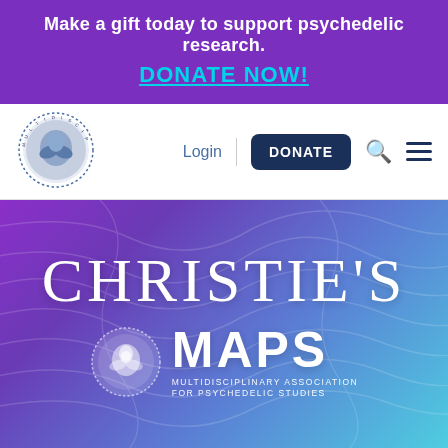Make a gift today to support psychedelic research.
DONATE NOW!
[Figure (logo): MAPS circular logo - Multidisciplinary Association for Psychedelic Studies seal with hands and dotted border]
Login
DONATE
[Figure (screenshot): Hero banner with gradient purple to cyan background with topographic line patterns, showing CHRISTIE'S text and MAPS logo with full name MULTIDISCIPLINARY ASSOCIATION FOR PSYCHEDELIC STUDIES]